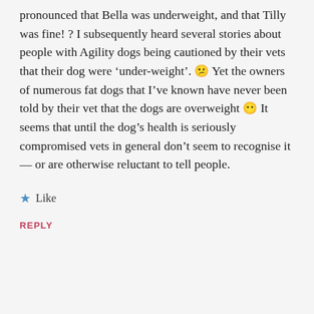pronounced that Bella was underweight, and that Tilly was fine! ? I subsequently heard several stories about people with Agility dogs being cautioned by their vets that their dog were ‘under-weight’. 😕 Yet the owners of numerous fat dogs that I’ve known have never been told by their vet that the dogs are overweight 😶 It seems that until the dog’s health is seriously compromised vets in general don’t seem to recognise it — or are otherwise reluctant to tell people.
★ Like
REPLY